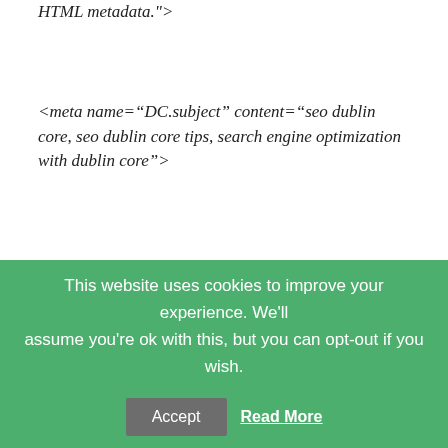HTML metadata.">
<meta name="DC.subject" content="seo dublin core, seo dublin core tips, search engine optimization with dublin core">
<meta name="DC.language" scheme="ISO639-1" content="en">
</head>
If you want help adding it to XML and XHTML
This website uses cookies to improve your experience. We'll assume you're ok with this, but you can opt-out if you wish.